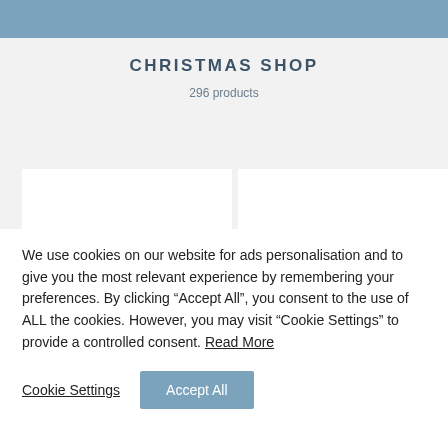CHRISTMAS SHOP
296 products
[Figure (other): Two white product card placeholders side by side on a light gray background]
We use cookies on our website for ads personalisation and to give you the most relevant experience by remembering your preferences. By clicking “Accept All”, you consent to the use of ALL the cookies. However, you may visit “Cookie Settings” to provide a controlled consent. Read More
Cookie Settings
Accept All